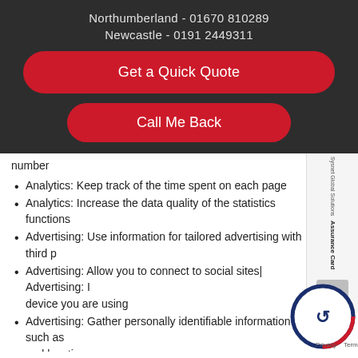Northumberland - 01670 810289
Newcastle - 0191 2449311
Get a Quick Quote
Call Me Back
number
Analytics: Keep track of the time spent on each page
Analytics: Increase the data quality of the statistics functions
Advertising: Use information for tailored advertising with third p
Advertising: Allow you to connect to social sites| Advertising: I device you are using
Advertising: Gather personally identifiable information such as and location
This website won't:
Remember your login details
Save & Close